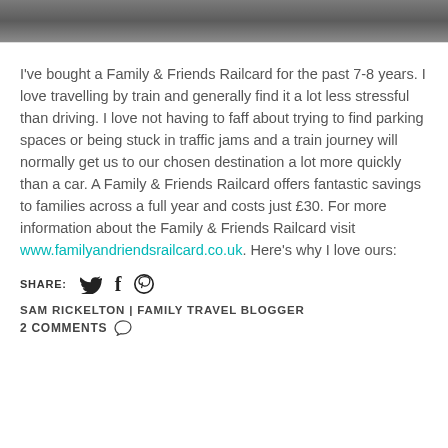[Figure (photo): Partial photo of a dark surface, appears to be a cropped image at top of page]
I've bought a Family & Friends Railcard for the past 7-8 years. I love travelling by train and generally find it a lot less stressful than driving. I love not having to faff about trying to find parking spaces or being stuck in traffic jams and a train journey will normally get us to our chosen destination a lot more quickly than a car. A Family & Friends Railcard offers fantastic savings to families across a full year and costs just £30. For more information about the Family & Friends Railcard visit www.familyandriendsrailcard.co.uk. Here's why I love ours:
SHARE:
SAM RICKELTON | FAMILY TRAVEL BLOGGER
2 COMMENTS